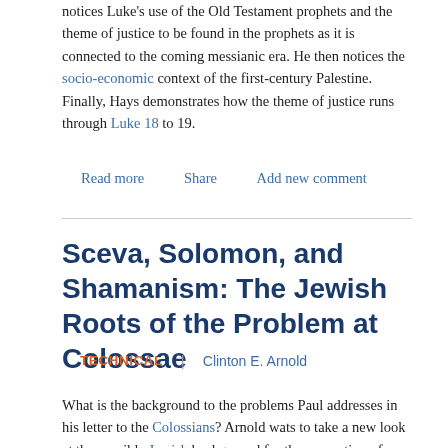notices Luke's use of the Old Testament prophets and the theme of justice to be found in the prophets as it is connected to the coming messianic era. He then notices the socio-economic context of the first-century Palestine. Finally, Hays demonstrates how the theme of justice runs through Luke 18 to 19.
Read more   Share   Add new comment
Sceva, Solomon, and Shamanism: The Jewish Roots of the Problem at Colossae
TECHNICAL | Clinton E. Arnold
What is the background to the problems Paul addresses in his letter to the Colossians? Arnold wats to take a new look at the possible Jewish background for the veneration of angels at Colosse. The Jew Sceva receives specific attention as a